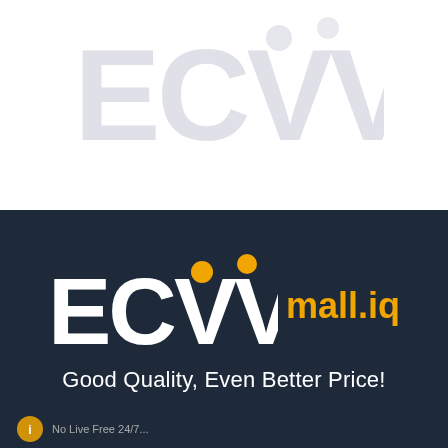[Figure (logo): ECVV logo watermark in light gray/lavender on white background, top portion of page]
[Figure (logo): ECVV mall.iq logo in white with orange dot accents on dark navy background, with tagline 'Good Quality, Even Better Price!']
Good Quality, Even Better Price!
No Live Free 24/7...